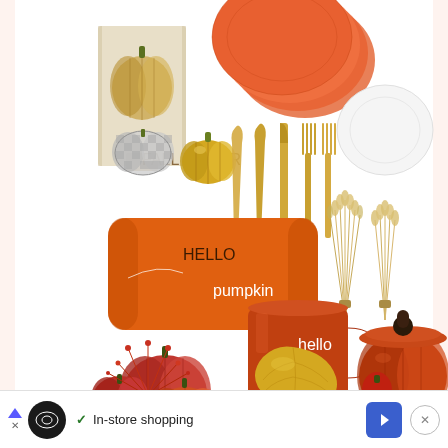[Figure (photo): Fall/autumn home decor collage on white background featuring: pumpkin-print dish towel with gold and silver decorative pumpkins, orange round placemats, white dinner plate, gold flatware set (spoons, knife, fork), orange 'Hello Pumpkin' decorative pillow, dried wheat sheaves, velvet decorative pumpkins (red/orange), orange 'hello fall' enamel mug, orange pumpkin-shaped ceramic Dutch oven/casserole, orange/red botanical stems, gold decorative leaf dish, and a small red pepper ornament at the bottom.]
[Figure (screenshot): Advertisement bar at bottom of page showing: blue triangle ad icon with X below, circular black logo with infinity-style icon, blue checkmark with 'In-store shopping' text, blue diamond arrow button, and circular X close button.]